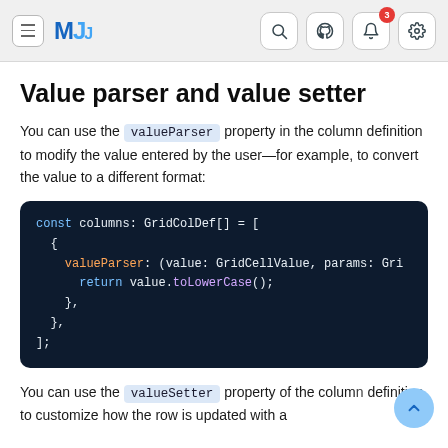MJ navigation bar with hamburger menu, search, GitHub, notifications (3), and settings icons
Value parser and value setter
You can use the valueParser property in the column definition to modify the value entered by the user—for example, to convert the value to a different format:
[Figure (screenshot): Code block showing TypeScript: const columns: GridColDef[] = [{ valueParser: (value: GridCellValue, params: Gri... return value.toLowerCase(); }, },];]
You can use the valueSetter property of the column definition to customize how the row is updated with a